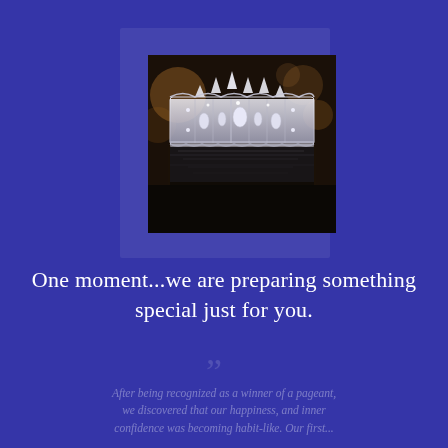[Figure (photo): A decorative silver rhinestone/crystal pageant crown photographed on a dark bokeh background with reflection visible below it. The crown has intricate lattice metalwork with teardrop-shaped jewel accents along the top edge.]
One moment...we are preparing something special just for you.
After being recognized as a winner of a pageant, we discovered that our happiness, and inner confidence was becoming habit-like. Our first...